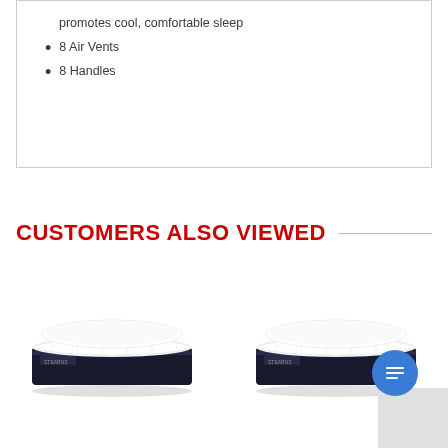promotes cool, comfortable sleep
8 Air Vents
8 Handles
CUSTOMERS ALSO VIEWED
[Figure (photo): Two mattress product images shown side by side in a 'Customers Also Viewed' section. Each mattress has a white top and dark navy/black sides with pillow-top construction.]
[Figure (illustration): Blue circular chat button with message lines icon, overlapping the right mattress image. A gray rounded rectangle partially visible at bottom right corner.]